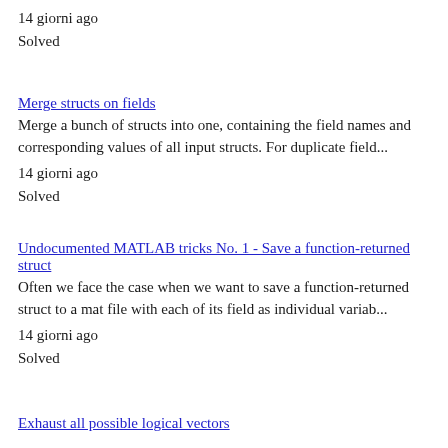14 giorni ago
Solved
Merge structs on fields
Merge a bunch of structs into one, containing the field names and corresponding values of all input structs. For duplicate field...
14 giorni ago
Solved
Undocumented MATLAB tricks No. 1 - Save a function-returned struct
Often we face the case when we want to save a function-returned struct to a mat file with each of its field as individual variab...
14 giorni ago
Solved
Exhaust all possible logical vectors